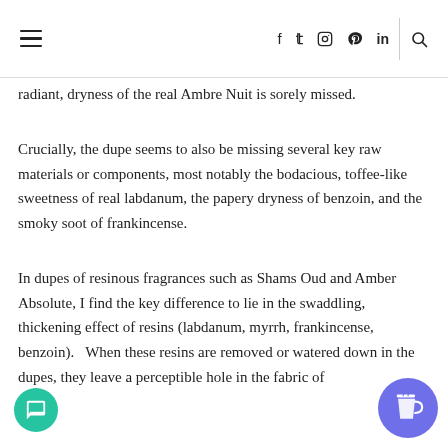≡  f  𝕥  ☷  ⊕  in  🔍
radiant, dryness of the real Ambre Nuit is sorely missed.
Crucially, the dupe seems to also be missing several key raw materials or components, most notably the bodacious, toffee-like sweetness of real labdanum, the papery dryness of benzoin, and the smoky soot of frankincense.
In dupes of resinous fragrances such as Shams Oud and Amber Absolute, I find the key difference to lie in the swaddling, thickening effect of resins (labdanum, myrrh, frankincense, benzoin).   When these resins are removed or watered down in the dupes, they leave a perceptible hole in the fabric of